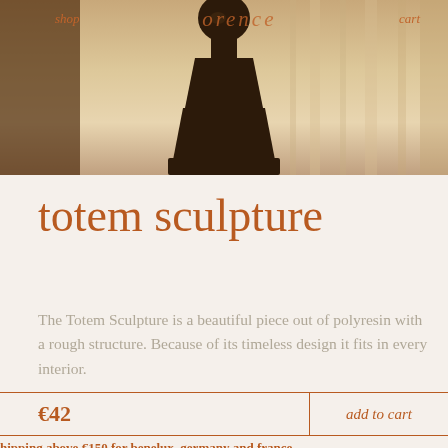shop   orence   cart
[Figure (photo): Dark brown totem sculpture on a warm beige/cream background with curtain-like striped backdrop]
totem sculpture
The Totem Sculpture is a beautiful piece out of polyresin with a rough structure. Because of its timeless design it fits in every interior.
€42   add to cart
hipping above €150 for benelux, germany and france